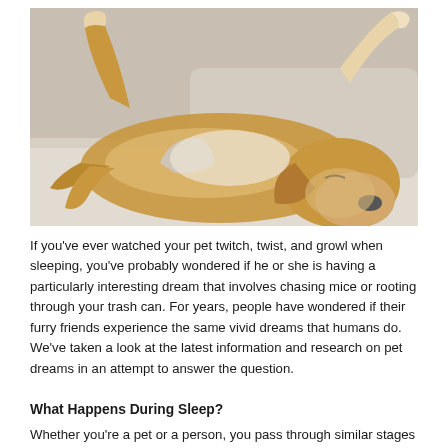[Figure (photo): A beagle or golden-colored dog sleeping on its back on a cream/beige couch, legs in the air, head resting on the cushion, eyes closed.]
If you've ever watched your pet twitch, twist, and growl when sleeping, you've probably wondered if he or she is having a particularly interesting dream that involves chasing mice or rooting through your trash can. For years, people have wondered if their furry friends experience the same vivid dreams that humans do. We've taken a look at the latest information and research on pet dreams in an attempt to answer the question.
What Happens During Sleep?
Whether you're a pet or a person, you pass through similar stages of